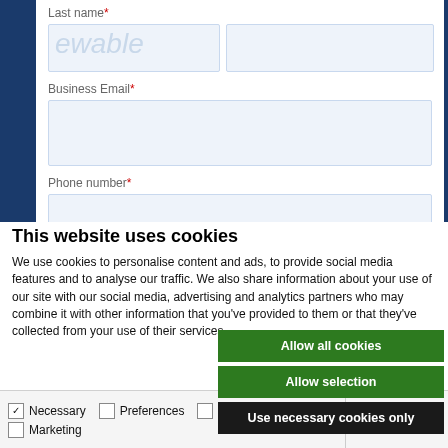Last name *
[Figure (screenshot): Web form showing Last name field with placeholder text 'ewable', Business Email field, and Phone number field on dark blue background]
Business Email *
Phone number *
This website uses cookies
We use cookies to personalise content and ads, to provide social media features and to analyse our traffic. We also share information about your use of our site with our social media, advertising and analytics partners who may combine it with other information that you've provided to them or that they've collected from your use of their services.
Allow all cookies
Allow selection
Use necessary cookies only
Necessary   Preferences   Statistics   Marketing   Show details